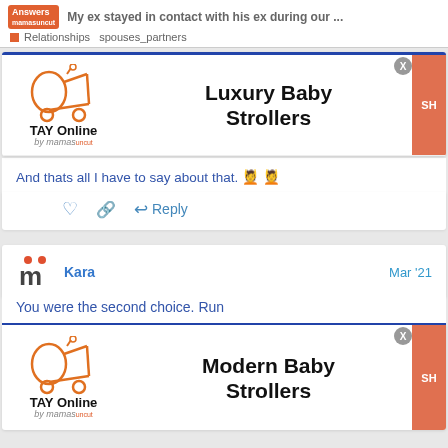My ex stayed in contact with his ex during our ... | Relationships spouses_partners
[Figure (screenshot): TAY Online by mamas advertisement for Luxury Baby Strollers with orange button]
And thats all I have to say about that. 💆💆
Reply (with heart and link icons)
Kara   Mar '21
You were the second choice. Run
[Figure (screenshot): TAY Online by mamas advertisement for Modern Baby Strollers with orange button]